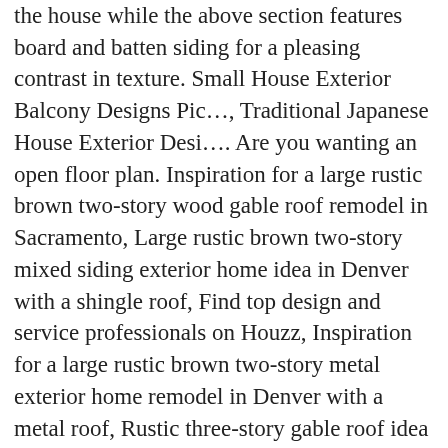the house while the above section features board and batten siding for a pleasing contrast in texture. Small House Exterior Balcony Designs Pic…, Traditional Japanese House Exterior Desi…. Are you wanting an open floor plan. Inspiration for a large rustic brown two-story wood gable roof remodel in Sacramento, Large rustic brown two-story mixed siding exterior home idea in Denver with a shingle roof, Find top design and service professionals on Houzz, Inspiration for a large rustic brown two-story metal exterior home remodel in Denver with a metal roof, Rustic three-story gable roof idea in Atlanta, Mountain style exterior home photo in San Francisco, Example of a large trendy brown two-story wood house exterior design in Boston with a hip roof and a shingle roof, Large transitional brown two-story mixed siding gable roof photo in Atlanta, Mountain style beige two-story mixed siding house exterior photo in Seattle with a shed roof, Inspiration for a small contemporary exterior home remodel in Salt Lake City with a shed roof, Large mountain style